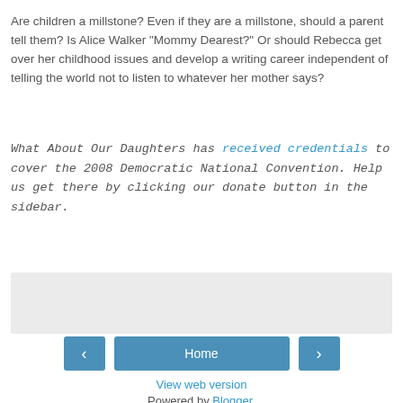Are children a millstone? Even if they are a millstone, should a parent tell them? Is Alice Walker "Mommy Dearest?" Or should Rebecca get over her childhood issues and develop a writing career independent of telling the world not to listen to whatever her mother says?
What About Our Daughters has received credentials to cover the 2008 Democratic National Convention. Help us get there by clicking our donate button in the sidebar.
[Figure (other): Gray placeholder/advertisement box]
< Home >
View web version
Powered by Blogger.